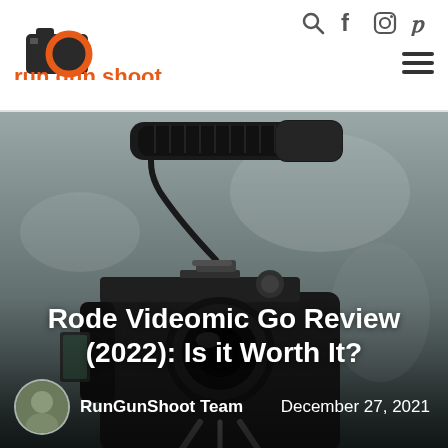[Figure (logo): Run Gun Shoot logo — camera icon with orange circles and text 'run gun shoot' in orange]
run gun shoot — navigation icons: search, facebook, instagram, pinterest, hamburger menu
[Figure (photo): Close-up of a Rode VideoMic Go shotgun microphone mounted on top of a DSLR camera, blurred background, dark tones]
Rode Videomic Go Review (2022): Is it Worth It?
RunGunShoot Team   December 27, 2021